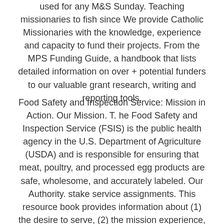used for any M&S Sunday. Teaching missionaries to fish since We provide Catholic Missionaries with the knowledge, experience and capacity to fund their projects. From the MPS Funding Guide, a handbook that lists detailed information on over + potential funders to our valuable grant research, writing and reporting tools.
Food Safety and Inspection Service: Mission in Action. Our Mission. T. he Food Safety and Inspection Service (FSIS) is the public health agency in the U.S. Department of Agriculture (USDA) and is responsible for ensuring that meat, poultry, and processed egg products are safe, wholesome, and accurately labeled. Our Authority. stake service assignments. This resource book provides information about (1) the desire to serve, (2) the mission experience, and (3) the support network for these missionaries. How could serving a Church-